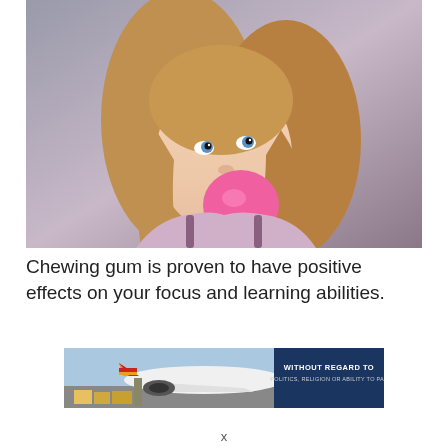[Figure (photo): Young blonde woman blowing a pink bubble gum bubble, looking upward, wearing a lacy purple top, against a gray-purple background]
Chewing gum is proven to have positive effects on your focus and learning abilities.
[Figure (photo): Advertisement banner showing cargo aircraft on tarmac with text 'WITHOUT REGARD TO POLITICS, RELIGION OR ABILITY TO PAY' on dark blue background]
x